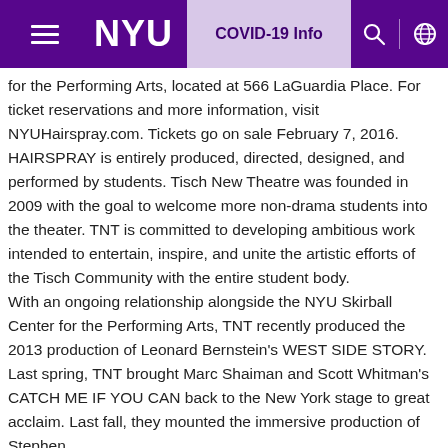NYU | COVID-19 Info
for the Performing Arts, located at 566 LaGuardia Place. For ticket reservations and more information, visit NYUHairspray.com. Tickets go on sale February 7, 2016. HAIRSPRAY is entirely produced, directed, designed, and performed by students. Tisch New Theatre was founded in 2009 with the goal to welcome more non-drama students into the theater. TNT is committed to developing ambitious work intended to entertain, inspire, and unite the artistic efforts of the Tisch Community with the entire student body. With an ongoing relationship alongside the NYU Skirball Center for the Performing Arts, TNT recently produced the 2013 production of Leonard Bernstein's WEST SIDE STORY. Last spring, TNT brought Marc Shaiman and Scott Whitman's CATCH ME IF YOU CAN back to the New York stage to great acclaim. Last fall, they mounted the immersive production of Stephen Sondheim's beloved COMPANY.